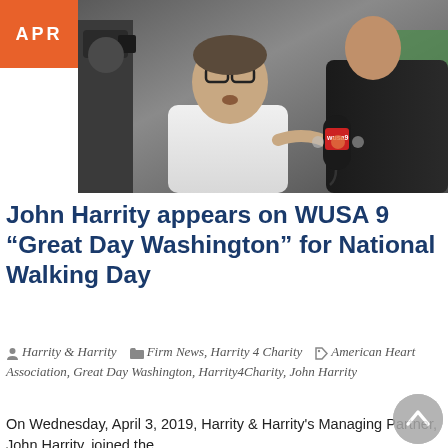[Figure (photo): Man in white shirt being interviewed by a reporter holding a WUSA9 microphone, with a camera crew in the background.]
John Harrity appears on WUSA 9 “Great Day Washington” for National Walking Day
Harrity & Harrity   Firm News, Harrity 4 Charity   American Heart Association, Great Day Washington, Harrity4Charity, John Harrity
On Wednesday, April 3, 2019, Harrity & Harrity's Managing Partner, John Harrity, joined the